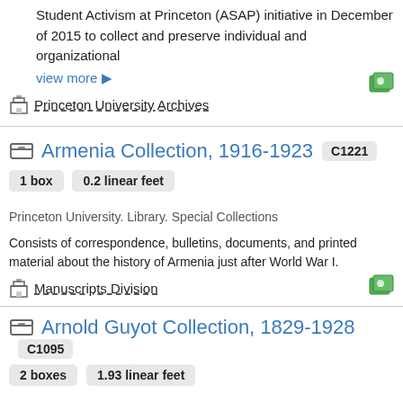Student Activism at Princeton (ASAP) initiative in December of 2015 to collect and preserve individual and organizational
view more ▶
Princeton University Archives
Armenia Collection, 1916-1923 C1221
1 box   0.2 linear feet
Princeton University. Library. Special Collections
Consists of correspondence, bulletins, documents, and printed material about the history of Armenia just after World War I.
Manuscripts Division
Arnold Guyot Collection, 1829-1928 C1095
2 boxes   1.93 linear feet